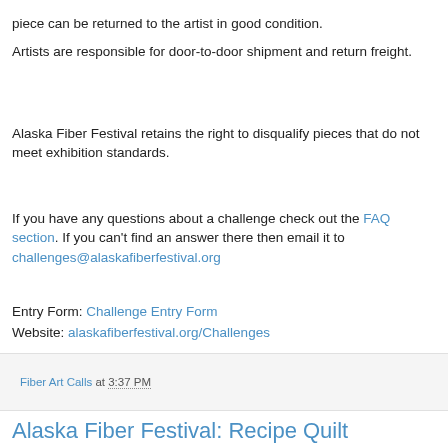piece can be returned to the artist in good condition.
Artists are responsible for door-to-door shipment and return freight.
Alaska Fiber Festival retains the right to disqualify pieces that do not meet exhibition standards.
If you have any questions about a challenge check out the FAQ section. If you can't find an answer there then email it to challenges@alaskafiberfestival.org
Entry Form: Challenge Entry Form
Website: alaskafiberfestival.org/Challenges
Fiber Art Calls at 3:37 PM
Alaska Fiber Festival: Recipe Quilt